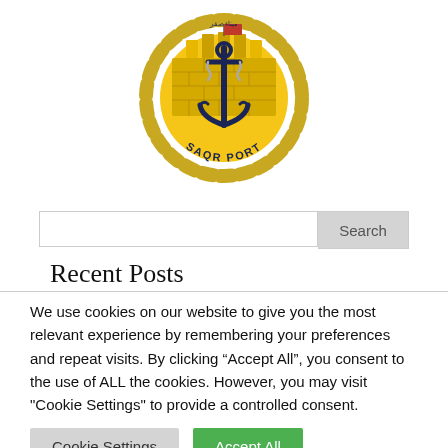[Figure (logo): Saqr Port logo — circular emblem with anchor, rope border, yellow brick fort wall, Arabic text at top, 'SAQR PORT' text at bottom, small red flag on top]
Search
Recent Posts
We use cookies on our website to give you the most relevant experience by remembering your preferences and repeat visits. By clicking “Accept All”, you consent to the use of ALL the cookies. However, you may visit "Cookie Settings" to provide a controlled consent.
Cookie Settings  Accept All